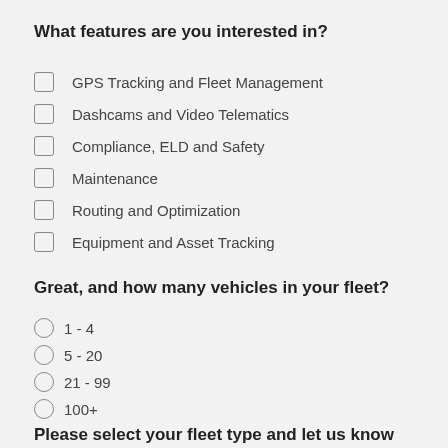What features are you interested in?
GPS Tracking and Fleet Management
Dashcams and Video Telematics
Compliance, ELD and Safety
Maintenance
Routing and Optimization
Equipment and Asset Tracking
Great, and how many vehicles in your fleet?
1 - 4
5 - 20
21 - 99
100+
Please select your fleet type and let us know